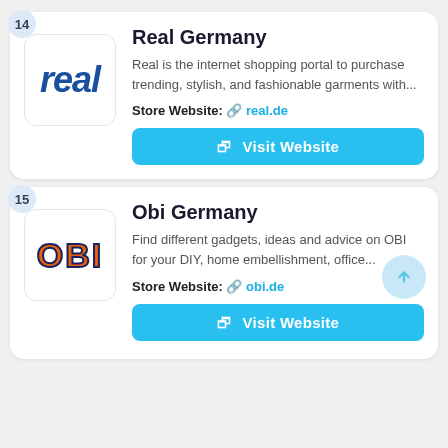Real Germany
Real is the internet shopping portal to purchase trending, stylish, and fashionable garments with...
Store Website: real.de
Visit Website
Obi Germany
Find different gadgets, ideas and advice on OBI for your DIY, home embellishment, office...
Store Website: obi.de
Visit Website